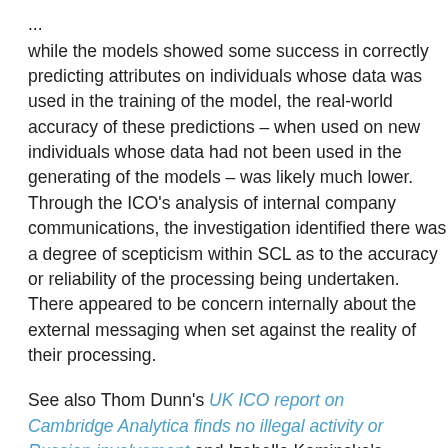... while the models showed some success in correctly predicting attributes on individuals whose data was used in the training of the model, the real-world accuracy of these predictions – when used on new individuals whose data had not been used in the generating of the models – was likely much lower. Through the ICO's analysis of internal company communications, the investigation identified there was a degree of scepticism within SCL as to the accuracy or reliability of the processing being undertaken. There appeared to be concern internally about the external messaging when set against the reality of their processing.
See also Thom Dunn's UK ICO report on Cambridge Analytica finds no illegal activity or Russian involvement and Izabella Kaminska's ICO's final report into Cambridge Analytica invites regulatory questions.
But these conclusions haven't stopped Cambridge